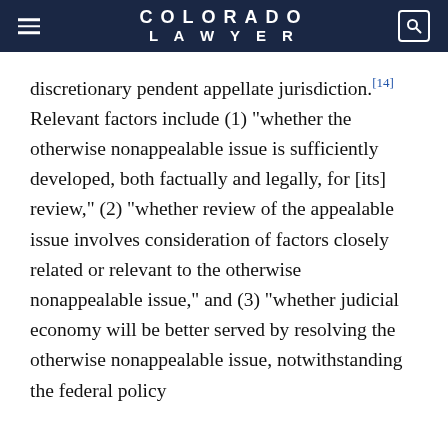COLORADO LAWYER
discretionary pendent appellate jurisdiction.[14] Relevant factors include (1) "whether the otherwise nonappealable issue is sufficiently developed, both factually and legally, for [its] review," (2) "whether review of the appealable issue involves consideration of factors closely related or relevant to the otherwise nonappealable issue," and (3) "whether judicial economy will be better served by resolving the otherwise nonappealable issue, notwithstanding the federal policy